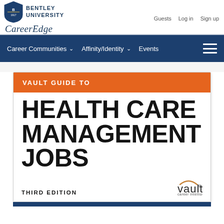Bentley University CareerEdge — Guests | Log in | Sign up
Career Communities ∨   Affinity/Identity ∨   Events
[Figure (screenshot): Vault Guide to Health Care Management Jobs, Third Edition — book cover shown inside Bentley University CareerEdge portal. Orange header strip with 'VAULT GUIDE TO', large bold black title text 'HEALTH CARE MANAGEMENT JOBS', 'THIRD EDITION' label, and Vault career intelligence logo.]
VAULT GUIDE TO HEALTH CARE MANAGEMENT JOBS
THIRD EDITION